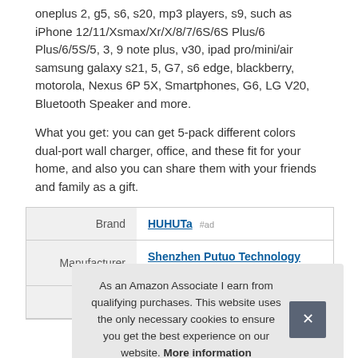oneplus 2, g5, s6, s20, mp3 players, s9, such as iPhone 12/11/Xsmax/Xr/X/8/7/6S/6S Plus/6 Plus/6/5S/5, 3, 9 note plus, v30, ipad pro/mini/air samsung galaxy s21, 5, G7, s6 edge, blackberry, motorola, Nexus 6P 5X, Smartphones, G6, LG V20, Bluetooth Speaker and more.
What you get: you can get 5-pack different colors dual-port wall charger, office, and these fit for your home, and also you can share them with your friends and family as a gift.
|  |  |
| --- | --- |
| Brand | HUHUTa #ad |
| Manufacturer | Shenzhen Putuo Technology Co.,Ltd #ad |
| P |  |
As an Amazon Associate I earn from qualifying purchases. This website uses the only necessary cookies to ensure you get the best experience on our website. More information